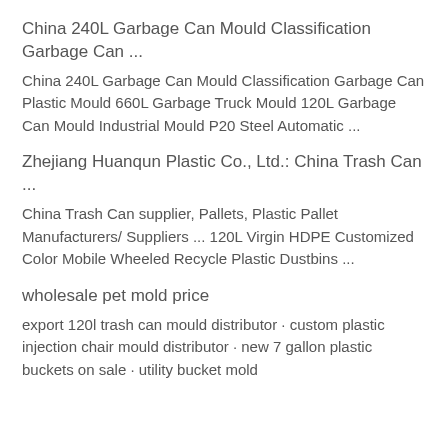China 240L Garbage Can Mould Classification Garbage Can ...
China 240L Garbage Can Mould Classification Garbage Can Plastic Mould 660L Garbage Truck Mould 120L Garbage Can Mould Industrial Mould P20 Steel Automatic ...
Zhejiang Huanqun Plastic Co., Ltd.: China Trash Can ...
China Trash Can supplier, Pallets, Plastic Pallet Manufacturers/ Suppliers ... 120L Virgin HDPE Customized Color Mobile Wheeled Recycle Plastic Dustbins ...
wholesale pet mold price
export 120l trash can mould distributor · custom plastic injection chair mould distributor · new 7 gallon plastic buckets on sale · utility bucket mold